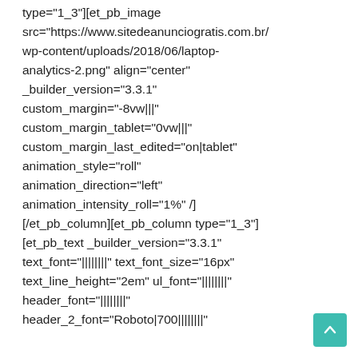type="1_3"][et_pb_image src="https://www.sitedeanunciogratis.com.br/wp-content/uploads/2018/06/laptop-analytics-2.png" align="center" _builder_version="3.3.1" custom_margin="-8vw|||" custom_margin_tablet="0vw|||" custom_margin_last_edited="on|tablet" animation_style="roll" animation_direction="left" animation_intensity_roll="1%" /] [/et_pb_column][et_pb_column type="1_3"] [et_pb_text _builder_version="3.3.1" text_font="||||||||" text_font_size="16px" text_line_height="2em" ul_font="||||||||" header_font="||||||||" header_2_font="Roboto|700||||||||"